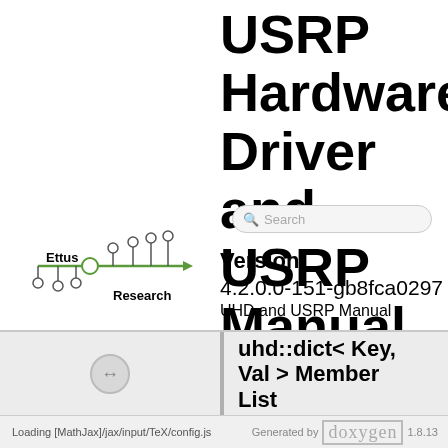USRP Hardware Driver and USRP Manual
[Figure (logo): Ettus Research logo with circuit-board style horizontal line and nodes]
Version: 4.2.0.0-151-gb8fca0297 UHD and USRP Manual
uhd::dict< Key, Val > Member List
Loading [MathJax]/jax/input/TeX/config.js   Generated by doxygen 1.8.13